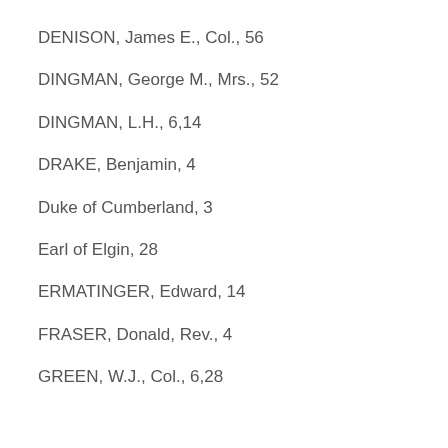DENISON, James E., Col., 56
DINGMAN, George M., Mrs., 52
DINGMAN, L.H., 6,14
DRAKE, Benjamin, 4
Duke of Cumberland, 3
Earl of Elgin, 28
ERMATINGER, Edward, 14
FRASER, Donald, Rev., 4
GREEN, W.J., Col., 6,28